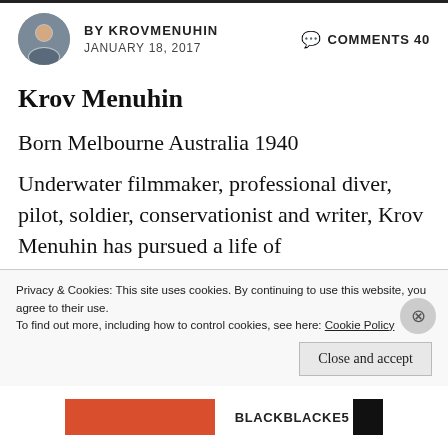BY KROVMENUHIN   COMMENTS 40   JANUARY 18, 2017
Krov Menuhin
Born Melbourne Australia 1940
Underwater filmmaker, professional diver, pilot, soldier, conservationist and writer, Krov Menuhin has pursued a life of
Privacy & Cookies: This site uses cookies. By continuing to use this website, you agree to their use. To find out more, including how to control cookies, see here: Cookie Policy
Close and accept